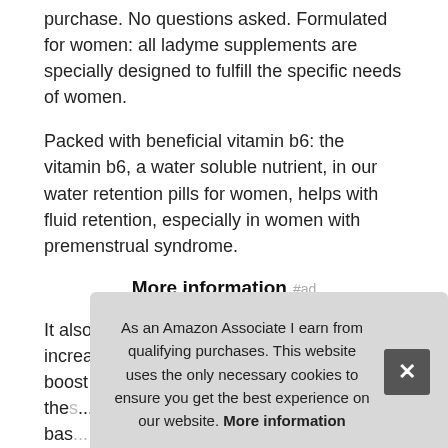purchase. No questions asked. Formulated for women: all ladyme supplements are specially designed to fulfill the specific needs of women.
Packed with beneficial vitamin b6: the vitamin b6, a water soluble nutrient, in our water retention pills for women, helps with fluid retention, especially in women with premenstrual syndrome.
More information #ad
It also supports a better digestion and increases the feeling of stomach fullness and boost energy levels. Natural ingredients: these ... natural ... based ... com...
As an Amazon Associate I earn from qualifying purchases. This website uses the only necessary cookies to ensure you get the best experience on our website. More information
All our ingredients are carefully selected to support women's